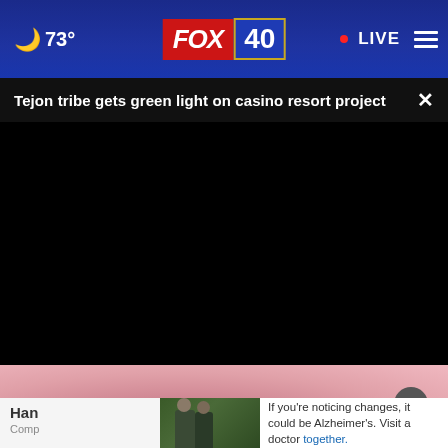73° FOX 40 • LIVE
Tejon tribe gets green light on casino resort project
[Figure (screenshot): Video player showing black screen with playback controls: play button, mute button, time 00:00, caption and fullscreen buttons. Progress bar at top of controls area.]
[Figure (photo): Pink/red background with camera equipment visible - partial advertisement image with close button overlay]
Han
Comp
[Figure (photo): Two men standing outdoors in a wooded area, advertisement for Alzheimer's awareness]
If you're noticing changes, it could be Alzheimer's. Visit a doctor together.